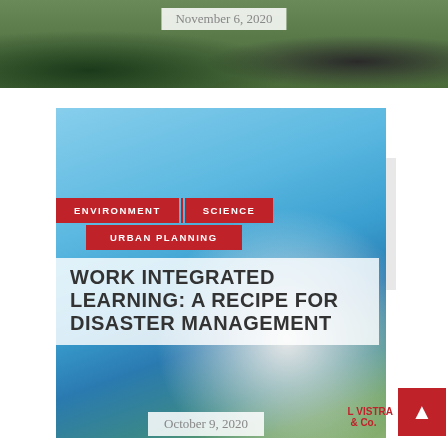[Figure (photo): Top strip photo showing train tracks and greenery with 'November 6, 2020' date badge overlaid]
November 6, 2020
PREVIOUS POST
NEXT POST
[Figure (photo): Photo of a young woman wearing a straw hat against a blue sky and ocean background, with red category tags and article title overlaid]
ENVIRONMENT
SCIENCE
URBAN PLANNING
WORK INTEGRATED LEARNING: A RECIPE FOR DISASTER MANAGEMENT
October 9, 2020